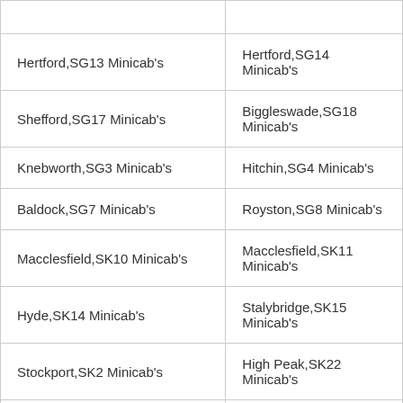|  |  |
| --- | --- |
| Hertford,SG13 Minicab's | Hertford,SG14 Minicab's |
| Shefford,SG17 Minicab's | Biggleswade,SG18 Minicab's |
| Knebworth,SG3 Minicab's | Hitchin,SG4 Minicab's |
| Baldock,SG7 Minicab's | Royston,SG8 Minicab's |
| Macclesfield,SK10 Minicab's | Macclesfield,SK11 Minicab's |
| Hyde,SK14 Minicab's | Stalybridge,SK15 Minicab's |
| Stockport,SK2 Minicab's | High Peak,SK22 Minicab's |
| Stockport,SK4 Minicab's | Stockport,SK5 Minicab's |
| Cheadle,SK8 Minicab's | Wilmslow,SK9 Minicab's |
| Slough,SL2 Minicab's | Slough,SL3 Minicab's |
| Maidenhead,SL6 Minicab's | Marlow,SL7 Minicab's |
| Sutton,SM1 Minicab's | Sutton,SM2 Minicab's |